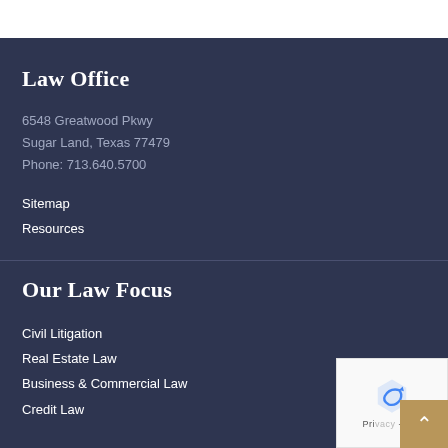Law Office
6548 Greatwood Pkwy
Sugar Land, Texas 77479
Phone: 713.640.5700
Sitemap
Resources
Our Law Focus
Civil Litigation
Real Estate Law
Business & Commercial Law
Credit Law